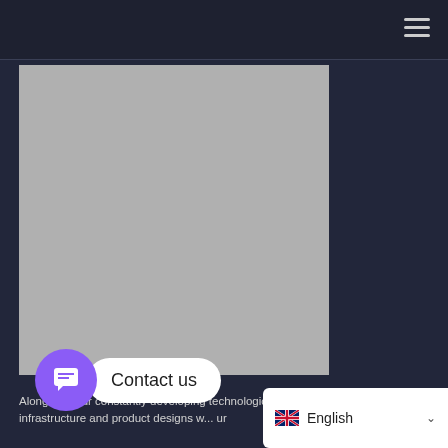[Figure (screenshot): Gray placeholder image rectangle on a dark background, representing a website section with an image placeholder.]
[Figure (infographic): A purple circular chat icon button overlapping a white rounded 'Contact us' pill/bubble button.]
Along with our constantly developing technological infrastructure and product designs w... ur
[Figure (screenshot): Language selector widget showing UK flag and 'English' text with a dropdown caret.]